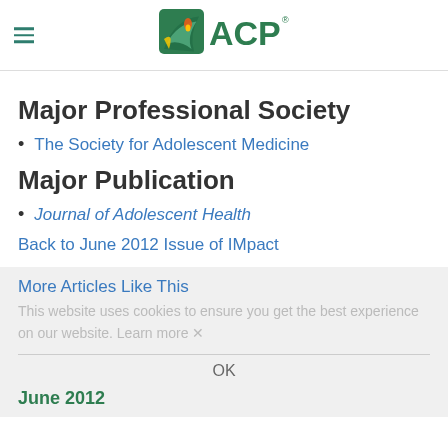ACP
Major Professional Society
The Society for Adolescent Medicine
Major Publication
Journal of Adolescent Health
Back to June 2012 Issue of IMpact
More Articles Like This
This website uses cookies to ensure you get the best experience on our website. Learn more
OK
June 2012